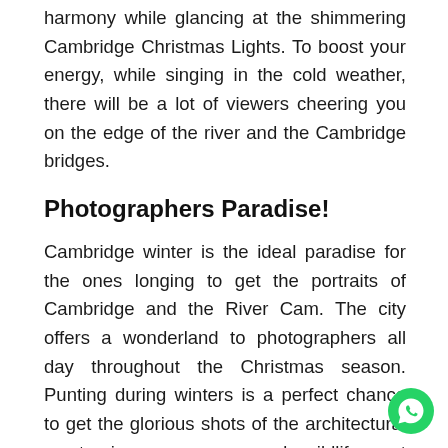harmony while glancing at the shimmering Cambridge Christmas Lights. To boost your energy, while singing in the cold weather, there will be a lot of viewers cheering you on the edge of the river and the Cambridge bridges.
Photographers Paradise!
Cambridge winter is the ideal paradise for the ones longing to get the portraits of Cambridge and the River Cam. The city offers a wonderland to photographers all day throughout the Christmas season. Punting during winters is a perfect chance to get the glorious shots of the architectural masterpieces, scenery and wildlife, not swamped with traffic.
While the Cambridge Christmas Lights in the evening
[Figure (other): WhatsApp contact button icon — green circle with white phone handset]